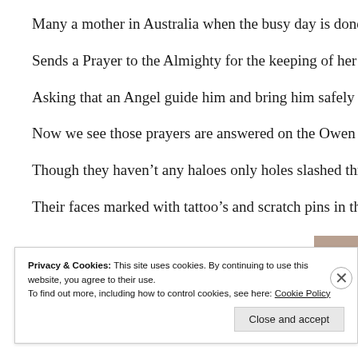Many a mother in Australia when the busy day is done
Sends a Prayer to the Almighty for the keeping of her Son.
Asking that an Angel guide him and bring him safely back
Now we see those prayers are answered on the Owen Stanley tra
Though they haven't any haloes only holes slashed through the
Their faces marked with tattoo's and scratch pins in their hair.
Privacy & Cookies: This site uses cookies. By continuing to use this website, you agree to their use.
To find out more, including how to control cookies, see here: Cookie Policy
Close and accept